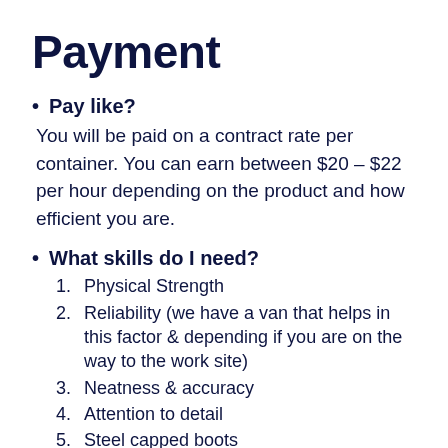Payment
Pay like?
You will be paid on a contract rate per container. You can earn between $20 – $22 per hour depending on the product and how efficient you are.
What skills do I need?
1. Physical Strength
2. Reliability (we have a van that helps in this factor & depending if you are on the way to the work site)
3. Neatness & accuracy
4. Attention to detail
5. Steel capped boots
6. Other certifications, AP cert, forklift